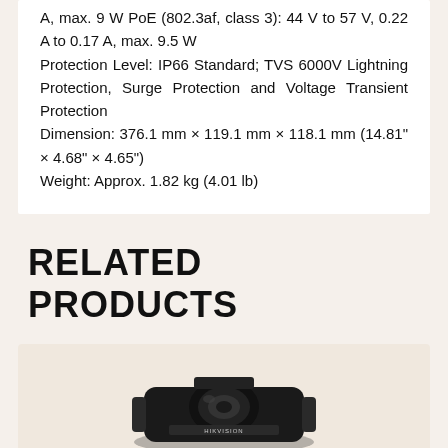A, max. 9 W PoE (802.3af, class 3): 44 V to 57 V, 0.22 A to 0.17 A, max. 9.5 W
Protection Level: IP66 Standard; TVS 6000V Lightning Protection, Surge Protection and Voltage Transient Protection
Dimension: 376.1 mm × 119.1 mm × 118.1 mm (14.81" × 4.68" × 4.65")
Weight: Approx. 1.82 kg (4.01 lb)
RELATED PRODUCTS
[Figure (photo): A Hikvision security camera product photo on a beige/tan background, showing a PTZ-style camera in dark/black color with a Hikvision logo visible.]